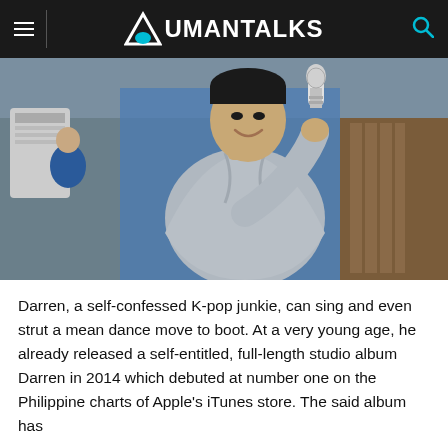AUMANTALKS
[Figure (photo): Young man in a grey bomber jacket over a blue polo shirt, smiling and holding a microphone, performing or speaking at an event. Another person visible in the background wearing blue.]
Darren, a self-confessed K-pop junkie, can sing and even strut a mean dance move to boot. At a very young age, he already released a self-entitled, full-length studio album Darren in 2014 which debuted at number one on the Philippine charts of Apple's iTunes store. The said album has